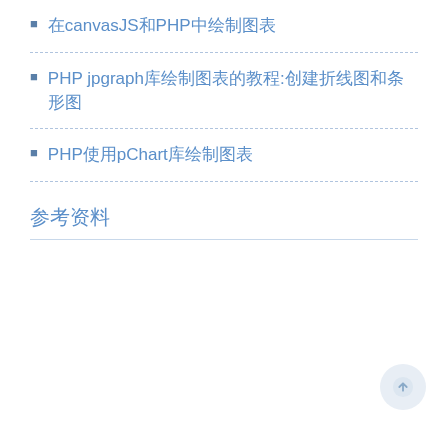在canvasJS和PHP中绘制图表
PHP jpgraph库绘制图表的教程:创建折线图和条形图
PHP使用pChart库绘制图表
参考资料